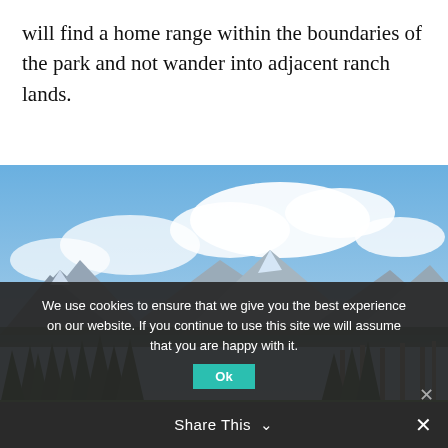will find a home range within the boundaries of the park and not wander into adjacent ranch lands.
[Figure (photo): Landscape photo of a grassy meadow with bison grazing, evergreen forest in the middle ground, and mountains with snow patches under a partly cloudy blue sky.]
We use cookies to ensure that we give you the best experience on our website. If you continue to use this site we will assume that you are happy with it.
Share This